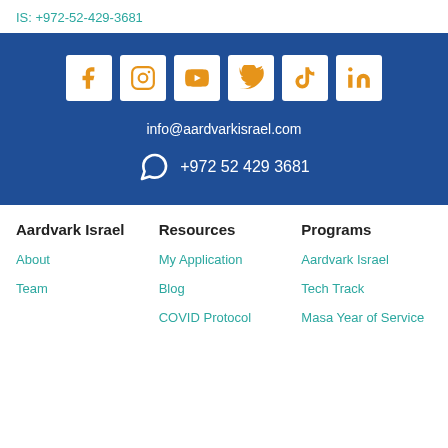IS: +972-52-429-3681
[Figure (infographic): Social media icons: Facebook, Instagram, YouTube, Twitter, TikTok, LinkedIn on blue background, plus email info@aardvarkisrael.com and WhatsApp +972 52 429 3681]
Aardvark Israel
About
Team
Resources
My Application
Blog
COVID Protocol
Programs
Aardvark Israel
Tech Track
Masa Year of Service